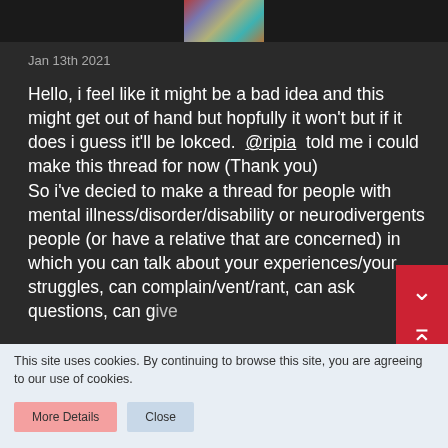[Figure (photo): Profile picture area showing colorful striped/swirled image at top of post]
Jan 13th 2021
Hello, i feel like it might be a bad idea and this might get out of hand but hopfully it won't but if it does i guess it'll be lokced.  @ripia  told me i could make this thread for now (Thank you)
So i've decied to make a thread for people with mental illness/disorder/disability or neurodivergents people (or have a relative that are concerned) in which you can talk about your experiences/your struggles, can complain/vent/rant, can ask questions, can give
This site uses cookies. By continuing to browse this site, you are agreeing to our use of cookies.